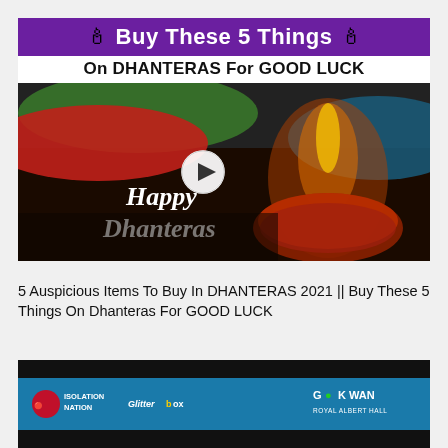[Figure (screenshot): Video thumbnail: Purple banner with candle emojis and text 'Buy These 5 Things', black bar with 'On DHANTERAS For GOOD LUCK', and a photo of a lit diya with colorful powder and 'Happy Dhanteras' text, with a play button overlay.]
5 Auspicious Items To Buy In DHANTERAS 2021 || Buy These 5 Things On Dhanteras For GOOD LUCK
[Figure (screenshot): Partial view of another video thumbnail with dark/black background showing logos: Isolation Nation, Glitterbox, and GOK WAN Royal Albert Hall on a teal bar.]